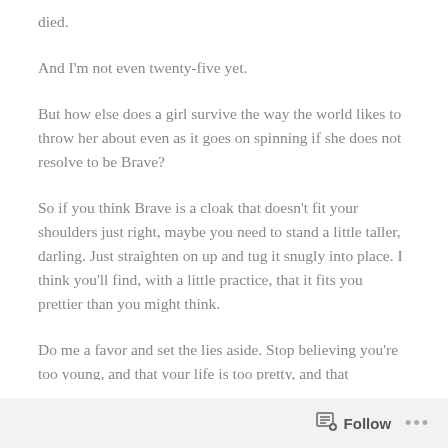died.
And I'm not even twenty-five yet.
But how else does a girl survive the way the world likes to throw her about even as it goes on spinning if she does not resolve to be Brave?
So if you think Brave is a cloak that doesn't fit your shoulders just right, maybe you need to stand a little taller, darling. Just straighten on up and tug it snugly into place. I think you'll find, with a little practice, that it fits you prettier than you might think.
Do me a favor and set the lies aside. Stop believing you're too young, and that your life is too pretty, and that
Follow ...